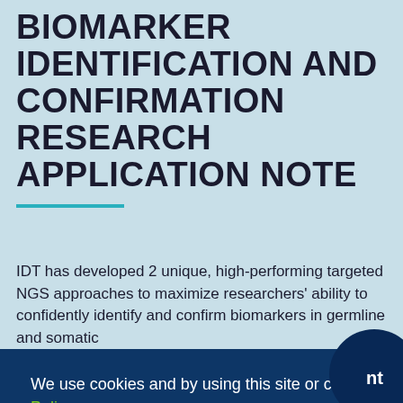BIOMARKER IDENTIFICATION AND CONFIRMATION RESEARCH APPLICATION NOTE
IDT has developed 2 unique, high-performing targeted NGS approaches to maximize researchers' ability to confidently identify and confirm biomarkers in germline and somatic
...of using ...identify ...bedded
We use cookies and by using this site or closing this message, you agree to our privacy policy.  Privacy Policy
Close
Allow cookies
nt